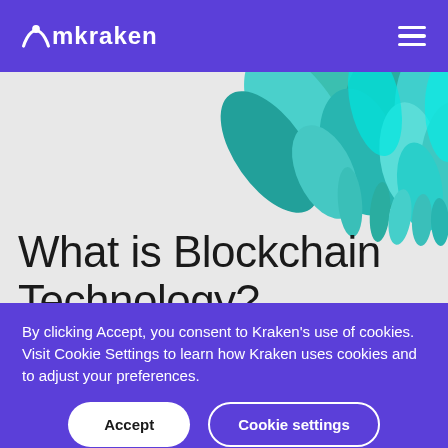mkraken
[Figure (illustration): Colorful teal and cyan abstract fluid shapes illustration in the upper right of the hero section]
What is Blockchain Technology?
The Beginner's Guide to Blockchain
By clicking Accept, you consent to Kraken's use of cookies. Visit Cookie Settings to learn how Kraken uses cookies and to adjust your preferences.